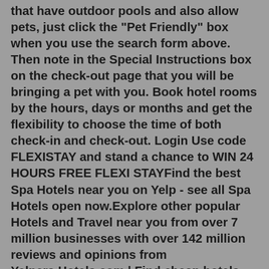that have outdoor pools and also allow pets, just click the "Pet Friendly" box when you use the search form above. Then note in the Special Instructions box on the check-out page that you will be bringing a pet with you. Book hotel rooms by the hours, days or months and get the flexibility to choose the time of both check-in and check-out. Login Use code FLEXISTAY and stand a chance to WIN 24 HOURS FREE FLEXI STAYFind the best Spa Hotels near you on Yelp - see all Spa Hotels open now.Explore other popular Hotels and Travel near you from over 7 million businesses with over 142 million reviews and opinions from Yelpers.Hotels.com | Find cheap hotels and discounts when you book on Hotels.com. Compare hotel deals, offers and read unbiased reviews on hotels. Click here to check availability and make Reservations for a Room for the day at a Marriott Property. (Day Use Rate) In the event a Day Use Rate is unavailable but you are seeing Room availability you can call us at the Hotel directly to discuss options for a Day Use. You can also book it